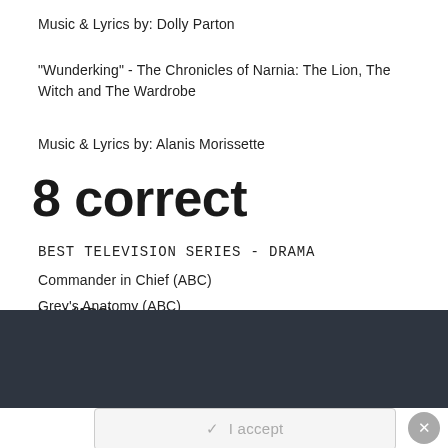Music & Lyrics by: Dolly Parton
"Wunderking" - The Chronicles of Narnia: The Lion, The Witch and The Wardrobe
Music & Lyrics by: Alanis Morissette
8 correct
BEST TELEVISION SERIES - DRAMA
Commander in Chief (ABC)
Grey's Anatomy (ABC)
Lost (ABC)
Important Information
By using this site, you agree to our Terms of Use and Privacy Policy
✓ I accept